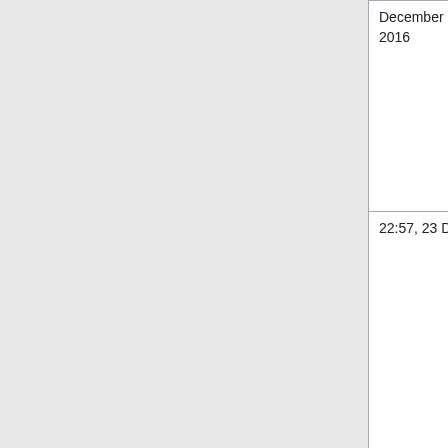| Date | File | Image |
| --- | --- | --- |
| December 2016 | Cabinet.jpg (file) | [image] |
| 22:57, 23 December 2016 | Eastwood-Dust-Collector.jpg (file) | [image] |
[Figure (screenshot): Navigation buttons: First page and Previous page]
Privacy policy   About makerspace.tulane.edu   Disclaimers   Powered by MediaWiki